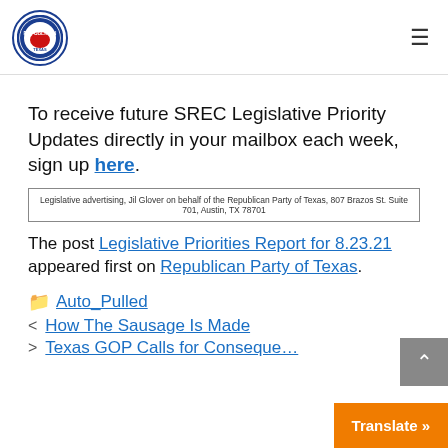Republican Party of Texas logo and navigation
To receive future SREC Legislative Priority Updates directly in your mailbox each week, sign up here.
Legislative advertising, Jil Glover on behalf of the Republican Party of Texas, 807 Brazos St. Suite 701, Austin, TX 78701
The post Legislative Priorities Report for 8.23.21 appeared first on Republican Party of Texas.
Auto_Pulled
How The Sausage Is Made
Texas GOP Calls for Conseque...